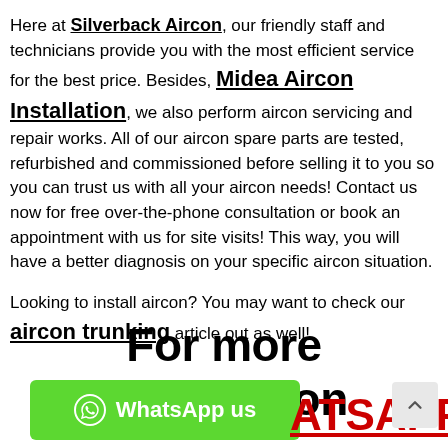Here at Silverback Aircon, our friendly staff and technicians provide you with the most efficient service for the best price. Besides, Midea Aircon Installation, we also perform aircon servicing and repair works. All of our aircon spare parts are tested, refurbished and commissioned before selling it to you so you can trust us with all your aircon needs! Contact us now for free over-the-phone consultation or book an appointment with us for site visits! This way, you will have a better diagnosis on your specific aircon situation.
Looking to install aircon? You may want to check our aircon trunking article out as well!
For more information
[Figure (other): Green WhatsApp button with phone icon and text 'WhatsApp us', overlaid with red bold text 'WHATSAPP us' and a scroll-to-top arrow button]